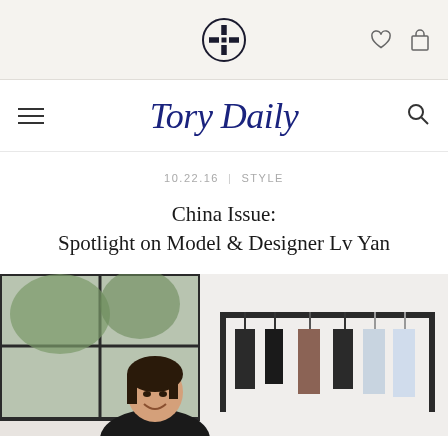[Figure (logo): Tory Burch logo icon - circular emblem with cross/T motif in top navigation bar]
Tory Daily
10.22.16  |  STYLE
China Issue: Spotlight on Model & Designer Lv Yan
[Figure (photo): Woman smiling in a studio/showroom with a clothing rack of garments behind her and large windows with greenery visible]
Share: